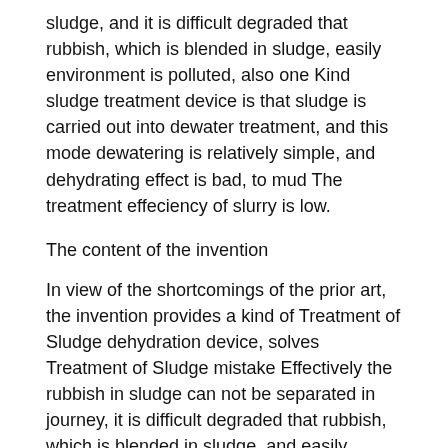sludge, and it is difficult degraded that rubbish, which is blended in sludge, easily environment is polluted, also one Kind sludge treatment device is that sludge is carried out into dewater treatment, and this mode dewatering is relatively simple, and dehydrating effect is bad, to mud The treatment effeciency of slurry is low.
The content of the invention
In view of the shortcomings of the prior art, the invention provides a kind of Treatment of Sludge dehydration device, solves Treatment of Sludge mistake Effectively the rubbish in sludge can not be separated in journey, it is difficult degraded that rubbish, which is blended in sludge, and easily environment is polluted, The problem of low to the treatment effeciency of mud.
To realize object above, the present invention is achieved by the following technical programs：A kind of Treatment of Sludge dehydration device, bag Housing is included, motor is fixedly connected with the top of the housing, the first belt pulley, institute are fixedly connected with the output shaft of the motor The surface for stating the first belt pulley is connected with the second belt pulley by belt